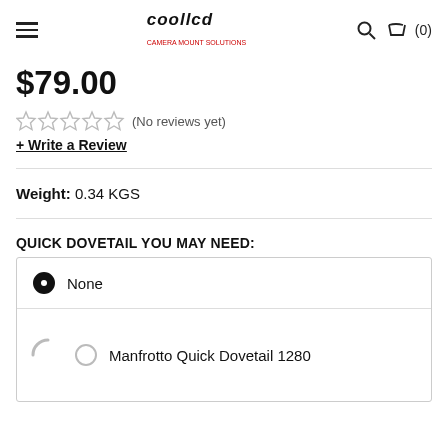coollcd
$79.00
(No reviews yet)
+ Write a Review
Weight: 0.34 KGS
QUICK DOVETAIL YOU MAY NEED:
None
Manfrotto Quick Dovetail 1280